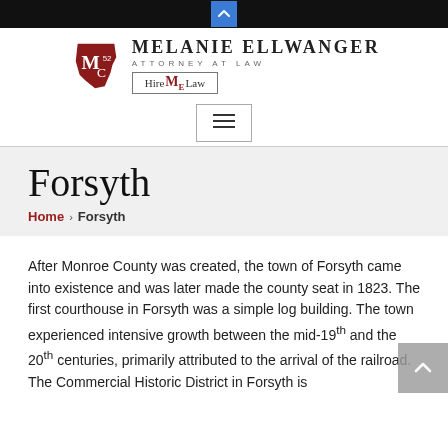[Figure (logo): Melanie Ellwanger Attorney at Law logo with stylized M and Georgia state outline in dark red, with text 'MELANIE ELLWANGER ATTORNEY AT LAW' and 'Hire ME Law' tagline]
[Figure (other): Navigation menu toggle button (hamburger icon) with border]
Forsyth
Home › Forsyth
After Monroe County was created, the town of Forsyth came into existence and was later made the county seat in 1823. The first courthouse in Forsyth was a simple log building. The town experienced intensive growth between the mid-19th and the 20th centuries, primarily attributed to the arrival of the railroad. The Commercial Historic District in Forsyth is...